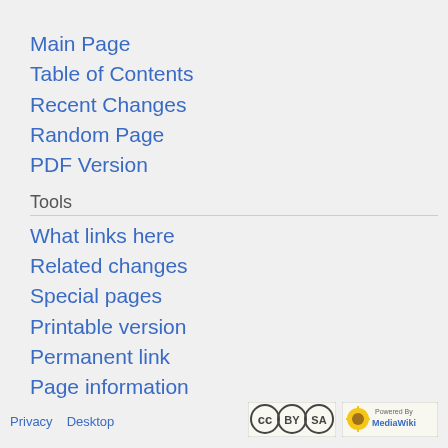Main Page
Table of Contents
Recent Changes
Random Page
PDF Version
Tools
What links here
Related changes
Special pages
Printable version
Permanent link
Page information
Privacy  Desktop
[Figure (logo): CC BY-SA license badge]
[Figure (logo): Powered by MediaWiki badge]